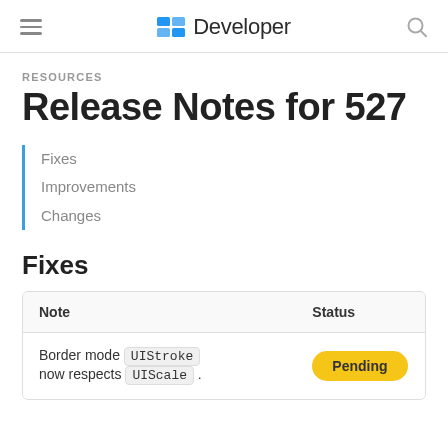Developer
RESOURCES
Release Notes for 527
Fixes
Improvements
Changes
Fixes
| Note | Status |
| --- | --- |
| Border mode UIStroke now respects UIScale . | Pending |